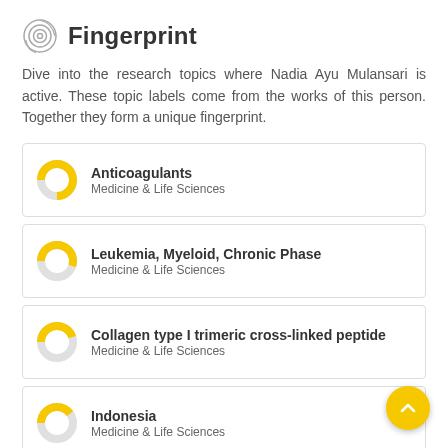Fingerprint
Dive into the research topics where Nadia Ayu Mulansari is active. These topic labels come from the works of this person. Together they form a unique fingerprint.
Anticoagulants
Medicine & Life Sciences
Leukemia, Myeloid, Chronic Phase
Medicine & Life Sciences
Collagen type I trimeric cross-linked peptide
Medicine & Life Sciences
Indonesia
Medicine & Life Sciences